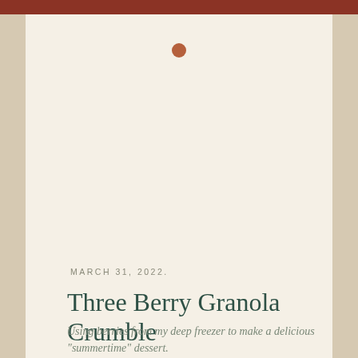[Figure (illustration): Decorative terracotta/rust colored circle dot centered at top of card, serving as a visual accent element]
MARCH 31, 2022.
Three Berry Granola Crumble
Using berries from my deep freezer to make a delicious "summertime" dessert.
READ MORE ▶